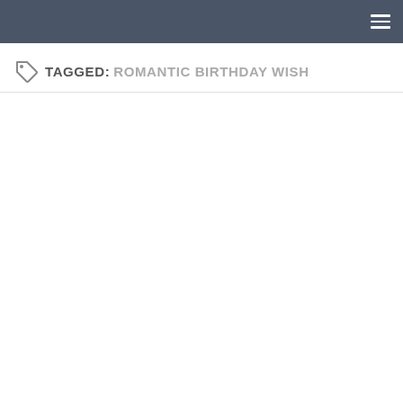☰ (navigation menu icon)
TAGGED: ROMANTIC BIRTHDAY WISH